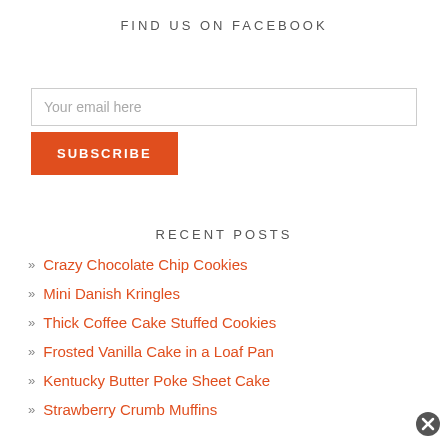FIND US ON FACEBOOK
Your email here
SUBSCRIBE
RECENT POSTS
Crazy Chocolate Chip Cookies
Mini Danish Kringles
Thick Coffee Cake Stuffed Cookies
Frosted Vanilla Cake in a Loaf Pan
Kentucky Butter Poke Sheet Cake
Strawberry Crumb Muffins